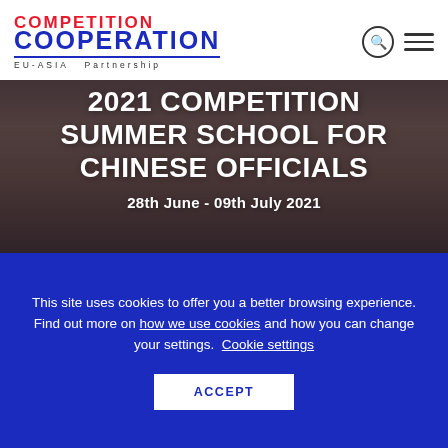COMPETITION COOPERATION EU-ASIA Partnership
2021 COMPETITION SUMMER SCHOOL FOR CHINESE OFFICIALS
28th June - 09th July 2021
[Figure (photo): Audience/participants in a conference or lecture hall setting, photo used as hero background]
This site uses cookies to offer you a better browsing experience. Find out more on how we use cookies and how you can change your settings. Cookie settings
ACCEPT